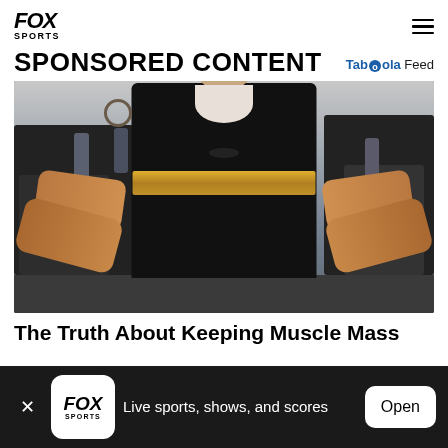FOX SPORTS
SPONSORED CONTENT
[Figure (photo): Older muscular man with a white beard wearing a black sleeveless Nike shirt and gold weightlifting belt, displaying his muscular forearms in a gym environment with exercise equipment visible in the background.]
The Truth About Keeping Muscle Mass
Fox Sports — Live sports, shows, and scores — Open